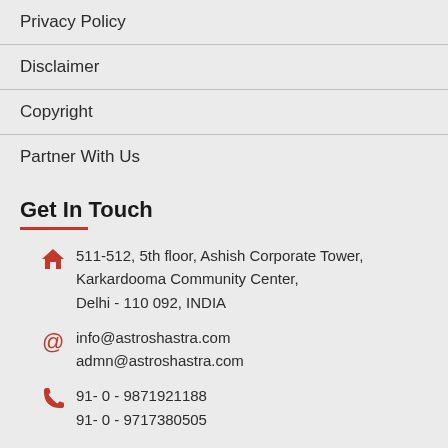Privacy Policy
Disclaimer
Copyright
Partner With Us
Get In Touch
511-512, 5th floor, Ashish Corporate Tower, Karkardooma Community Center, Delhi - 110 092, INDIA
info@astroshastra.com
admn@astroshastra.com
91- 0 - 9871921188
91- 0 - 9717380505